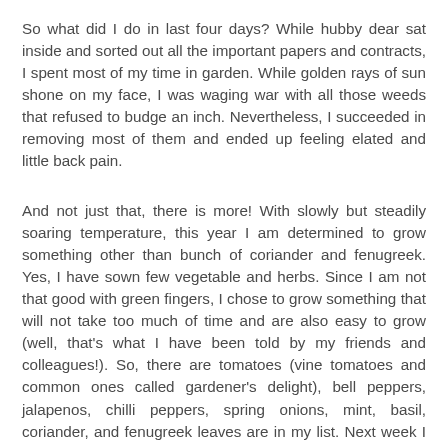So what did I do in last four days? While hubby dear sat inside and sorted out all the important papers and contracts, I spent most of my time in garden. While golden rays of sun shone on my face, I was waging war with all those weeds that refused to budge an inch. Nevertheless, I succeeded in removing most of them and ended up feeling elated and little back pain.
And not just that, there is more! With slowly but steadily soaring temperature, this year I am determined to grow something other than bunch of coriander and fenugreek. Yes, I have sown few vegetable and herbs. Since I am not that good with green fingers, I chose to grow something that will not take too much of time and are also easy to grow (well, that's what I have been told by my friends and colleagues!). So, there are tomatoes (vine tomatoes and common ones called gardener's delight), bell peppers, jalapenos, chilli peppers, spring onions, mint, basil, coriander, and fenugreek leaves are in my list. Next week I am hoping to sow some cucumbers, cress, salad mustard, and radish. I have been hovering over them like mother hen